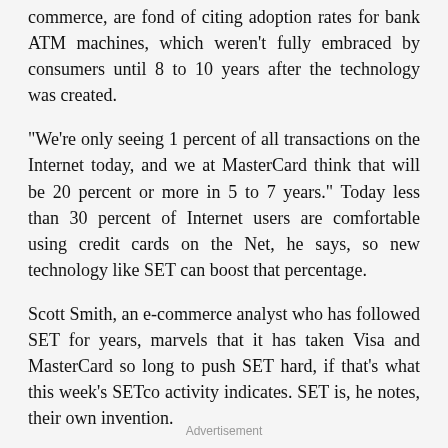commerce, are fond of citing adoption rates for bank ATM machines, which weren't fully embraced by consumers until 8 to 10 years after the technology was created.
"We're only seeing 1 percent of all transactions on the Internet today, and we at MasterCard think that will be 20 percent or more in 5 to 7 years." Today less than 30 percent of Internet users are comfortable using credit cards on the Net, he says, so new technology like SET can boost that percentage.
Scott Smith, an e-commerce analyst who has followed SET for years, marvels that it has taken Visa and MasterCard so long to push SET hard, if that's what this week's SETco activity indicates. SET is, he notes, their own invention.
"They need a cheerleader badly," he said.
Advertisement